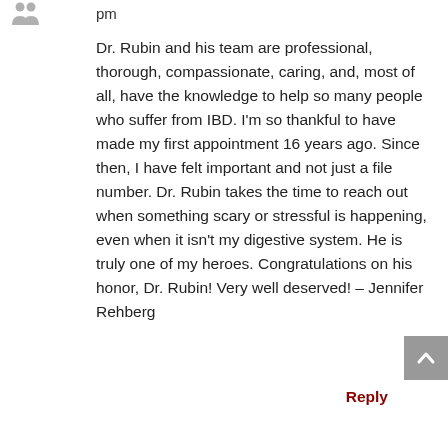pm
Dr. Rubin and his team are professional, thorough, compassionate, caring, and, most of all, have the knowledge to help so many people who suffer from IBD. I'm so thankful to have made my first appointment 16 years ago. Since then, I have felt important and not just a file number. Dr. Rubin takes the time to reach out when something scary or stressful is happening, even when it isn't my digestive system. He is truly one of my heroes. Congratulations on his honor, Dr. Rubin! Very well deserved! – Jennifer Rehberg
Reply